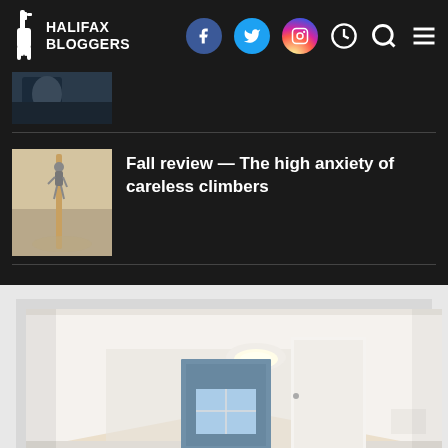HALIFAX BLOGGERS
[Figure (photo): Partially cropped photo - person in dark clothing]
Fall review — The high anxiety of careless climbers
[Figure (photo): Person climbing a tall metal pole in a desert landscape]
[Figure (photo): Interior room photo showing empty room with white walls, ceiling light, doors, and hardwood floor]